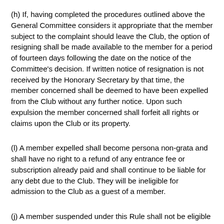(h) If, having completed the procedures outlined above the General Committee considers it appropriate that the member subject to the complaint should leave the Club, the option of resigning shall be made available to the member for a period of fourteen days following the date on the notice of the Committee's decision. If written notice of resignation is not received by the Honorary Secretary by that time, the member concerned shall be deemed to have been expelled from the Club without any further notice. Upon such expulsion the member concerned shall forfeit all rights or claims upon the Club or its property.
(l) A member expelled shall become persona non-grata and shall have no right to a refund of any entrance fee or subscription already paid and shall continue to be liable for any debt due to the Club. They will be ineligible for admission to the Club as a guest of a member.
(j) A member suspended under this Rule shall not be eligible for nomination for election to the General Committee for a period of three years from the completion of their period of suspension. During the period of their suspension they will be ineligible for admission to the Club as a guest of another member.